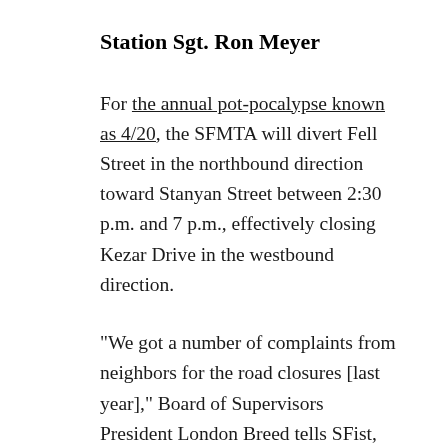Station Sgt. Ron Meyer
For the annual pot-pocalypse known as 4/20, the SFMTA will divert Fell Street in the northbound direction toward Stanyan Street between 2:30 p.m. and 7 p.m., effectively closing Kezar Drive in the westbound direction.
"We got a number of complaints from neighbors for the road closures [last year]," Board of Supervisors President London Breed tells SFist, "but it's unfortunately necessary and the police decide that, so I'm supportive of it." In a press release, Breed